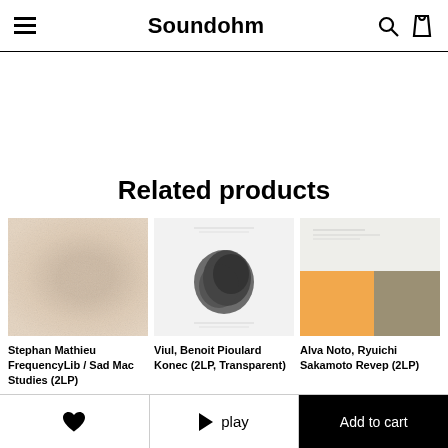Soundohm
Related products
[Figure (photo): Album cover thumbnail for Stephan Mathieu - FrequencyLib / Sad Mac Studies (2LP), beige/sand textured surface]
Stephan Mathieu FrequencyLib / Sad Mac Studies (2LP)
[Figure (photo): Album cover thumbnail for Viul, Benoit Pioulard - Konec (2LP, Transparent), white cover with dark organic texture]
Viul, Benoit Pioulard Konec (2LP, Transparent)
[Figure (photo): Album cover thumbnail for Alva Noto, Ryuichi Sakamoto - Revep (2LP), light background with orange and tan color blocks]
Alva Noto, Ryuichi Sakamoto Revep (2LP)